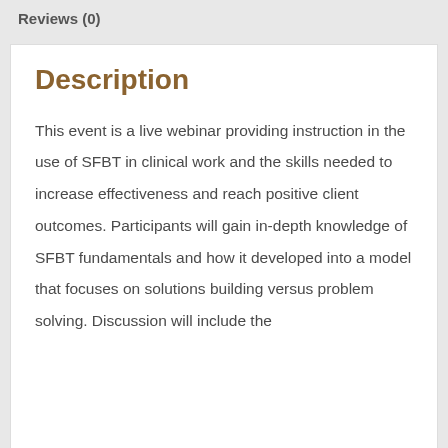Reviews (0)
Description
This event is a live webinar providing instruction in the use of SFBT in clinical work and the skills needed to increase effectiveness and reach positive client outcomes. Participants will gain in-depth knowledge of SFBT fundamentals and how it developed into a model that focuses on solutions building versus problem solving. Discussion will include the